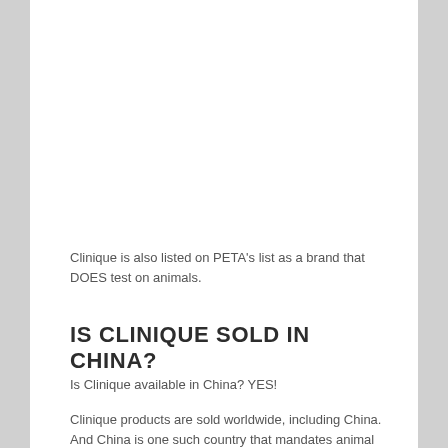Clinique is also listed on PETA's list as a brand that DOES test on animals.
IS CLINIQUE SOLD IN CHINA?
Is Clinique available in China? YES!
Clinique products are sold worldwide, including China. And China is one such country that mandates animal